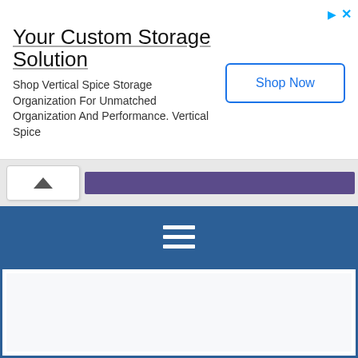[Figure (screenshot): Advertisement banner for Vertical Spice Storage with 'Your Custom Storage Solution' title, body text, and 'Shop Now' button]
[Figure (screenshot): Collapse/hide button with upward chevron, and a purple progress or navigation bar segment]
[Figure (screenshot): Navigation menu bar in dark blue with hamburger menu icon (three white horizontal lines)]
[Figure (screenshot): White content area with blue border, content appears blank/loading]